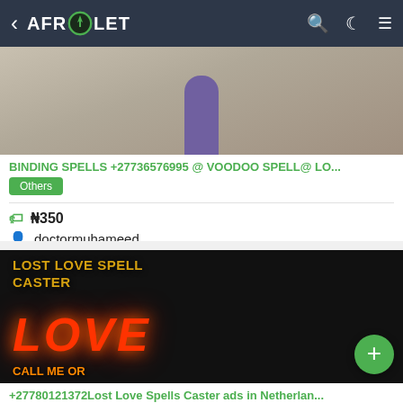AFROLET
[Figure (photo): A person in purple/blue robe standing, photo with grayish-brown background]
BINDING SPELLS +27736576995 @ VOODOO SPELL@ LO...
Others
₦350
doctormuhameed
[Figure (photo): Lost Love Spell Caster promotional image with fiery LOVE text on black background]
+27780121372Lost Love Spells Caster ads in Netherlan...